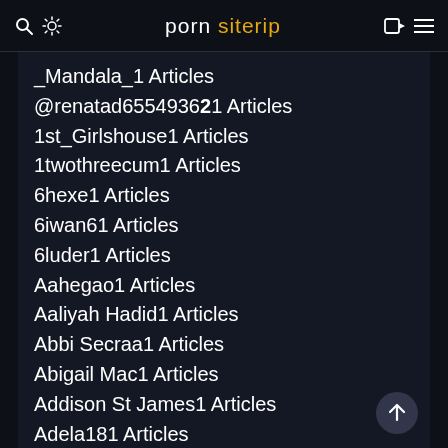porn siterip
_Mandala_1 Articles
@renatad6554936 21 Articles
1st_Girlshouse1 Articles
1twothreecum1 Articles
6hexe1 Articles
6iwan61 Articles
6luder1 Articles
Aahegao1 Articles
Aaliyah Hadid1 Articles
Abbi Secraa1 Articles
Abigail Mac1 Articles
Addison St James1 Articles
Adela181 Articles
Adiana @adianababyxo1 Articles
Adriana Chechik2 Articles